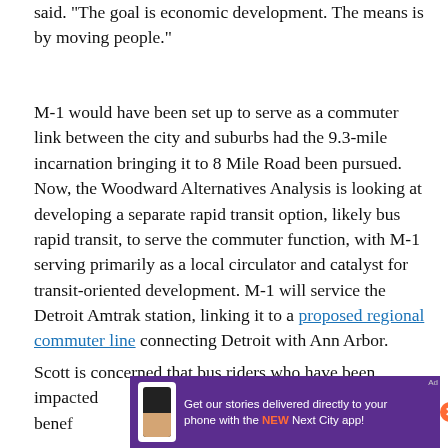said. "The goal is economic development. The means is by moving people."
M-1 would have been set up to serve as a commuter link between the city and suburbs had the 9.3-mile incarnation bringing it to 8 Mile Road been pursued. Now, the Woodward Alternatives Analysis is looking at developing a separate rapid transit option, likely bus rapid transit, to serve the commuter function, with M-1 serving primarily as a local circulator and catalyst for transit-oriented development. M-1 will service the Detroit Amtrak station, linking it to a proposed regional commuter line connecting Detroit with Ann Arbor.
Scott is concerned that bus riders who have been impacted... t benefi... r
[Figure (other): Advertisement banner: 'Get our stories delivered directly to your phone with the NEW Next City app!' with phone graphic on purple background]